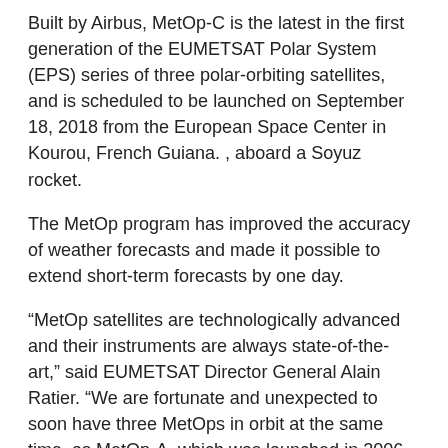Built by Airbus, MetOp-C is the latest in the first generation of the EUMETSAT Polar System (EPS) series of three polar-orbiting satellites, and is scheduled to be launched on September 18, 2018 from the European Space Center in Kourou, French Guiana. , aboard a Soyuz rocket.
The MetOp program has improved the accuracy of weather forecasts and made it possible to extend short-term forecasts by one day.
“MetOp satellites are technologically advanced and their instruments are always state-of-the-art,” said EUMETSAT Director General Alain Ratier. “We are fortunate and unexpected to soon have three MetOps in orbit at the same time, as MetOp-A, which was launched in 2006, has far exceeded its design life of five years and will remain in orbit. until 2022.”
“Building on the operational success and exceptional longevity of the MetOp satellites, we are always pleased to have been